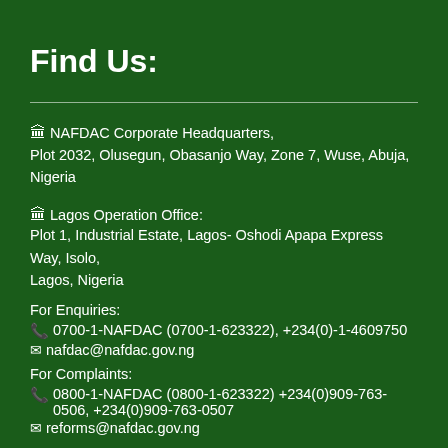Find Us:
🏛 NAFDAC Corporate Headquarters, Plot 2032, Olusegun, Obasanjo Way, Zone 7, Wuse, Abuja, Nigeria
🏛 Lagos Operation Office: Plot 1, Industrial Estate, Lagos- Oshodi Apapa Express Way, Isolo, Lagos, Nigeria
For Enquiries:
📞 0700-1-NAFDAC (0700-1-623322), +234(0)-1-4609750
✉ nafdac@nafdac.gov.ng
For Complaints:
📞 0800-1-NAFDAC (0800-1-623322) +234(0)909-763-0506, +234(0)909-763-0507
✉ reforms@nafdac.gov.ng